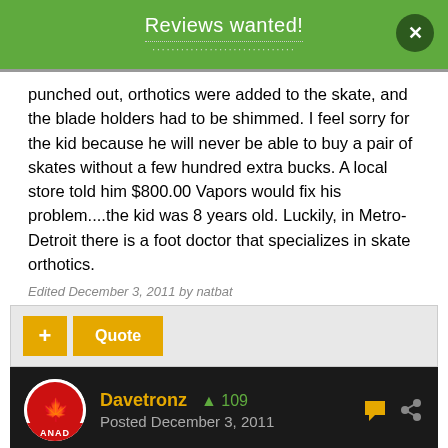Reviews wanted!
punched out, orthotics were added to the skate, and the blade holders had to be shimmed. I feel sorry for the kid because he will never be able to buy a pair of skates without a few hundred extra bucks. A local store told him $800.00 Vapors would fix his problem....the kid was 8 years old. Luckily, in Metro-Detroit there is a foot doctor that specializes in skate orthotics.
Edited December 3, 2011 by natbat
+ Quote
Davetronz  +109  Posted December 3, 2011
There's basically two approaches to this. Modify the boot/blade alignment, or modify the foot within the boot. Call them "schools of thought" if you want.
I've had experience with both. I've had my skates shimmed